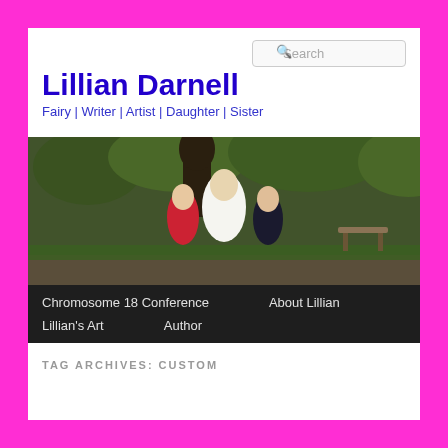Lillian Darnell
Fairy | Writer | Artist | Daughter | Sister
[Figure (photo): Family photo of three people (woman and two children) posing in front of a large bronze statue in a park setting with green trees in the background.]
Chromosome 18 Conference   About Lillian   Lillian's Art   Author
TAG ARCHIVES: CUSTOM